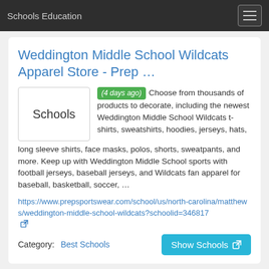Schools Education
Weddington Middle School Wildcats Apparel Store - Prep …
[Figure (other): Thumbnail placeholder image with text 'Schools' inside a bordered box]
(4 days ago) Choose from thousands of products to decorate, including the newest Weddington Middle School Wildcats t-shirts, sweatshirts, hoodies, jerseys, hats, long sleeve shirts, face masks, polos, shorts, sweatpants, and more. Keep up with Weddington Middle School sports with football jerseys, baseball jerseys, and Wildcats fan apparel for baseball, basketball, soccer, …
https://www.prepsportswear.com/school/us/north-carolina/matthews/weddington-middle-school-wildcats?schoolid=346817
Category:  Best Schools